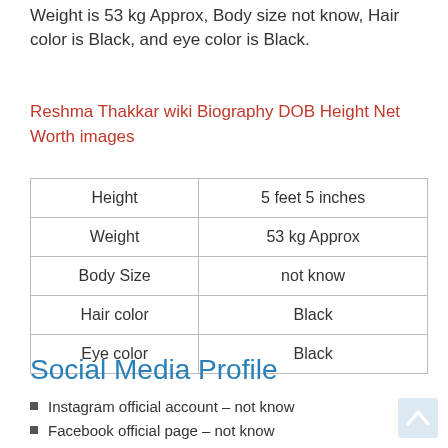Weight is 53 kg Approx, Body size not know, Hair color is Black, and eye color is Black.
Reshma Thakkar wiki Biography DOB Height Net Worth images
| Height | 5 feet 5 inches |
| Weight | 53 kg Approx |
| Body Size | not know |
| Hair color | Black |
| Eye color | Black |
Social Media Profile
Instagram official account – not know
Facebook official page – not know